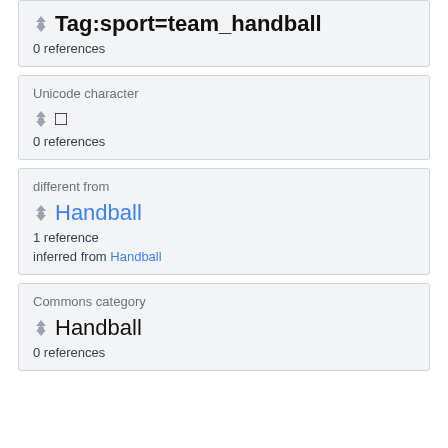Tag:sport=team_handball
0 references
Unicode character
□
0 references
different from
Handball
1 reference
inferred from Handball
Commons category
Handball
0 references